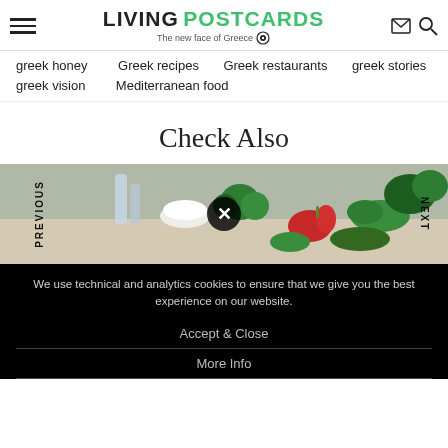LIVING POSTCARDS – The new face of Greece
greek honey
Greek recipes
Greek restaurants
greek stories
greek vision
Mediterranean food
Check Also
[Figure (photo): Food/vegetable spread with peppers, greens, and herbs on a table, with PREVIOUS and NEXT navigation labels and a close (×) button overlay]
We use technical and analytics cookies to ensure that we give you the best experience on our website.
Accept & Close
More Info